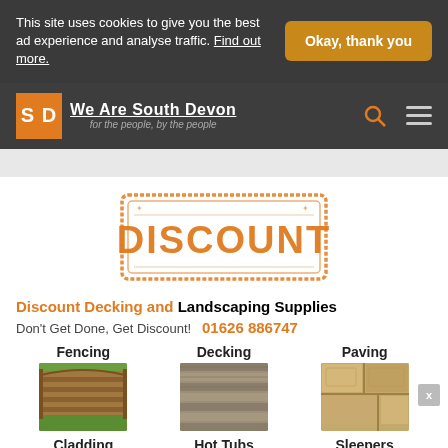This site uses cookies to give you the best ad experience and analyse traffic. Find out more.
Okay, thank you
[Figure (logo): We Are South Devon logo with orange SD square badge and tagline 'for the people, by the people']
[Figure (logo): DISCOUNT rubber stamp logo in orange]
Discount Decking and Landscaping Supplies
Don't Get Done, Get Discount!    01626 886747
Fencing
[Figure (photo): Photo of wooden garden fencing panel]
Decking
[Figure (photo): Photo of wooden decking boards]
Paving
[Figure (photo): Photo of paving slabs]
Cladding
Hot Tubs
Sleepers